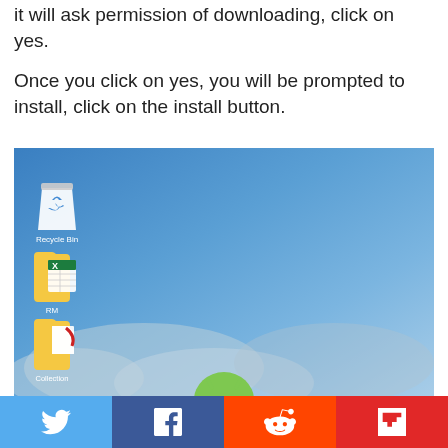it will ask permission of downloading, click on yes.
Once you click on yes, you will be prompted to install, click on the install button.
[Figure (screenshot): Windows desktop screenshot showing Recycle Bin icon, a folder labeled 'RM' with Excel icon, a folder labeled 'Collection', and a partial green icon at the bottom, against a blue sky background.]
[Figure (infographic): Social share bar with Twitter, Facebook, Reddit, and Flipboard buttons.]